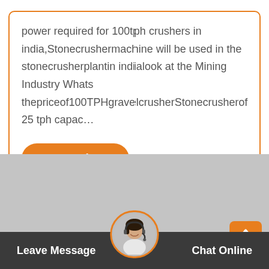power required for 100tph crushers in india,Stonecrushermachine will be used in the stonecrusherplantin indialook at the Mining Industry Whats thepriceof100TPHgravelcrusherStonecrusherof 25 tph capac…
[Figure (screenshot): Orange 'Get Price' button with rounded corners]
[Figure (photo): Gray placeholder image area]
[Figure (photo): Circular avatar of a woman with headset, framed in orange ring]
Leave Message   Chat Online